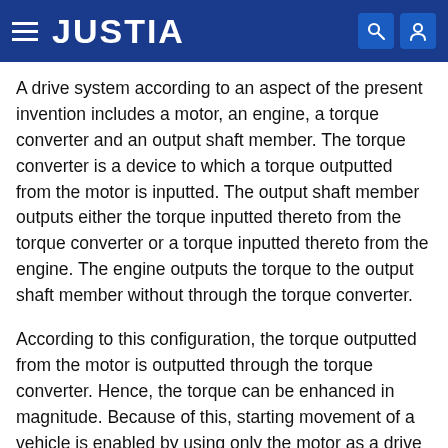JUSTIA
A drive system according to an aspect of the present invention includes a motor, an engine, a torque converter and an output shaft member. The torque converter is a device to which a torque outputted from the motor is inputted. The output shaft member outputs either the torque inputted thereto from the torque converter or a torque inputted thereto from the engine. The engine outputs the torque to the output shaft member without through the torque converter.
According to this configuration, the torque outputted from the motor is outputted through the torque converter. Hence, the torque can be enhanced in magnitude. Because of this, starting movement of a vehicle is enabled by using only the motor as a drive source. Besides, the engine outputs the torque without through the torque converter. Hence, when the vehicle